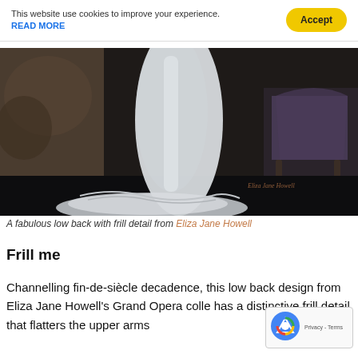This website use cookies to improve your experience. READ MORE  Accept
[Figure (photo): A white flowing gown with long train displayed against a dark, aged wall background with an ornate chair to the right. The back view shows dramatic low back with frill detail.]
A fabulous low back with frill detail from Eliza Jane Howell
Frill me
Channelling fin-de-siècle decadence, this low back design from Eliza Jane Howell's Grand Opera colle has a distinctive frill detail that flatters the upper arms